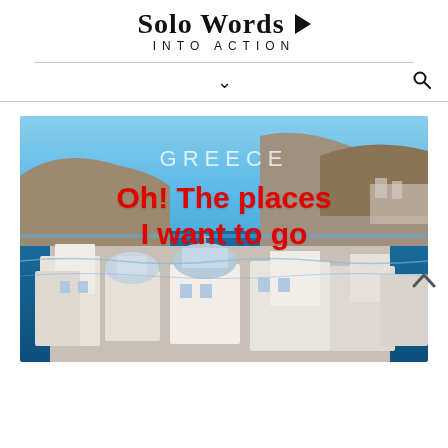Solo Words INTO ACTION
[Figure (logo): Solo Words Into Action logo with play button triangle icon]
[Figure (photo): Photo of Santorini, Greece showing white-washed buildings with domes overlooking blue Aegean Sea and cliffs, with text overlay: GREECE / Oh! The places I want to go]